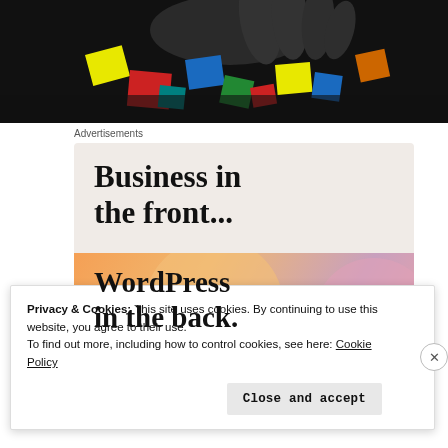[Figure (photo): Dark photo of hands holding or manipulating colorful geometric puzzle pieces (resembling a Rubik's cube or tangram) against a black background. Bright colors include yellow, red, green, blue.]
Advertisements
[Figure (screenshot): Advertisement banner with two sections. Top light beige section reads 'Business in the front...' in bold serif font. Bottom section has a colorful peach/pink gradient background with circular blobs and reads 'WordPress in the back.' in bold serif font.]
Privacy & Cookies: This site uses cookies. By continuing to use this website, you agree to their use.
To find out more, including how to control cookies, see here: Cookie Policy
Close and accept